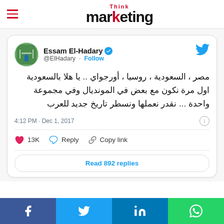Think marketing
[Figure (screenshot): Embedded tweet from Essam El-Hadary (@ElHadary) with Arabic text about Egypt, Saudi Arabia, Russia, Uruguay in the World Cup group. Posted 4:12 PM Dec 1, 2017. 13K likes, Reply, Copy link. Read 892 replies.]
Share buttons: Facebook, Twitter, LinkedIn, WhatsApp